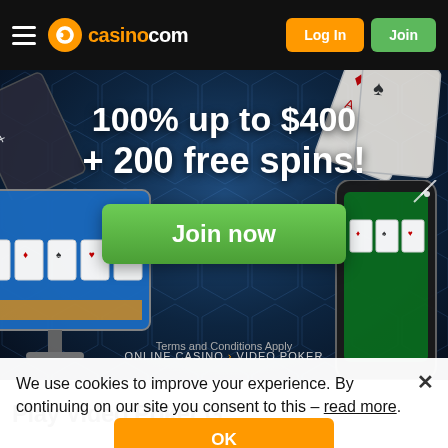casino.com — Log In | Join
[Figure (screenshot): Casino.com website hero banner showing playing cards scattered in background, dark blue theme, with promotional text '100% up to $400 + 200 free spins!' and a 'Join now' green button, plus device mockups showing casino games]
Terms and Conditions Apply
We use cookies to improve your experience. By continuing on our site you consent to this – read more.
ONLINE CASINO > VIDEO POKER
Play Video Poker Games...
OK